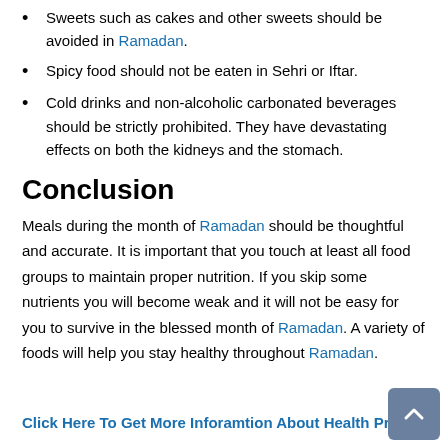Sweets such as cakes and other sweets should be avoided in Ramadan.
Spicy food should not be eaten in Sehri or Iftar.
Cold drinks and non-alcoholic carbonated beverages should be strictly prohibited. They have devastating effects on both the kidneys and the stomach.
Conclusion
Meals during the month of Ramadan should be thoughtful and accurate. It is important that you touch at least all food groups to maintain proper nutrition. If you skip some nutrients you will become weak and it will not be easy for you to survive in the blessed month of Ramadan. A variety of foods will help you stay healthy throughout Ramadan.
Click Here To Get More Inforamtion About Health Prob...